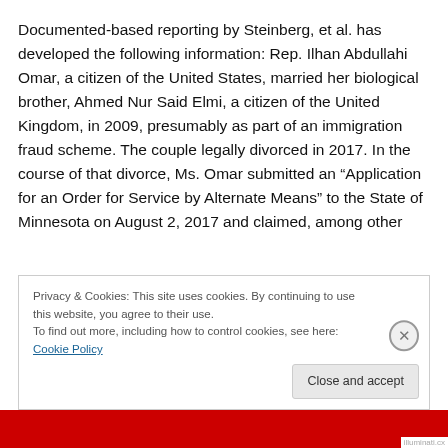Documented-based reporting by Steinberg, et al. has developed the following information: Rep. Ilhan Abdullahi Omar, a citizen of the United States, married her biological brother, Ahmed Nur Said Elmi, a citizen of the United Kingdom, in 2009, presumably as part of an immigration fraud scheme. The couple legally divorced in 2017. In the course of that divorce, Ms. Omar submitted an “Application for an Order for Service by Alternate Means” to the State of Minnesota on August 2, 2017 and claimed, among other
Privacy & Cookies: This site uses cookies. By continuing to use this website, you agree to their use.
To find out more, including how to control cookies, see here: Cookie Policy